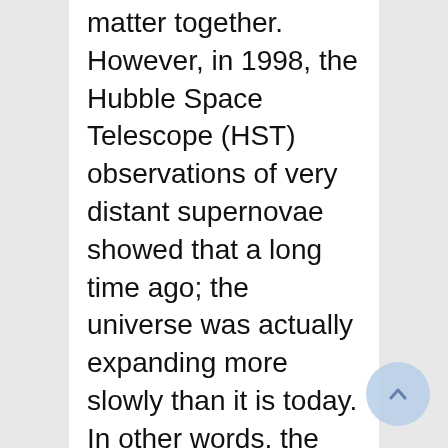matter together. However, in 1998, the Hubble Space Telescope (HST) observations of very distant supernovae showed that a long time ago; the universe was actually expanding more slowly than it is today. In other words, the expansion of the universe has not been slowing down due to gravity, as everyone expected, but it has been accelerating and something was causing this acceleration. Eventually, theorists still do not know what the correct explanation is but they have given the solution a name, it's